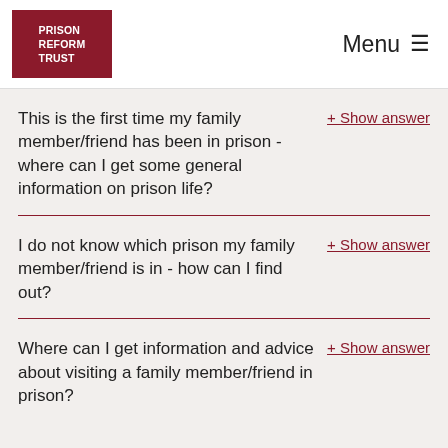PRISON REFORM TRUST | Menu
This is the first time my family member/friend has been in prison - where can I get some general information on prison life?
+ Show answer
I do not know which prison my family member/friend is in - how can I find out?
+ Show answer
Where can I get information and advice about visiting a family member/friend in prison?
+ Show answer